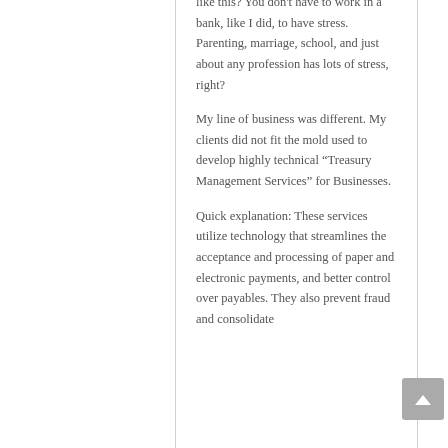like this? You don't have to work in a bank, like I did, to have stress. Parenting, marriage, school, and just about any profession has lots of stress, right?
My line of business was different. My clients did not fit the mold used to develop highly technical “Treasury Management Services” for Businesses.
Quick explanation: These services utilize technology that streamlines the acceptance and processing of paper and electronic payments, and better control over payables. They also prevent fraud and consolidate